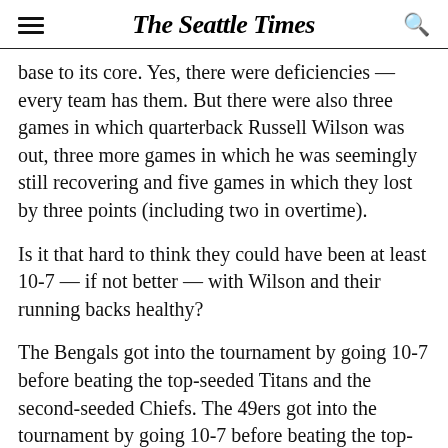The Seattle Times
base to its core. Yes, there were deficiencies — every team has them. But there were also three games in which quarterback Russell Wilson was out, three more games in which he was seemingly still recovering and five games in which they lost by three points (including two in overtime).
Is it that hard to think they could have been at least 10-7 — if not better — with Wilson and their running backs healthy?
The Bengals got into the tournament by going 10-7 before beating the top-seeded Titans and the second-seeded Chiefs. The 49ers got into the tournament by going 10-7 before beating the top-seeded Packers and falling three points shy of